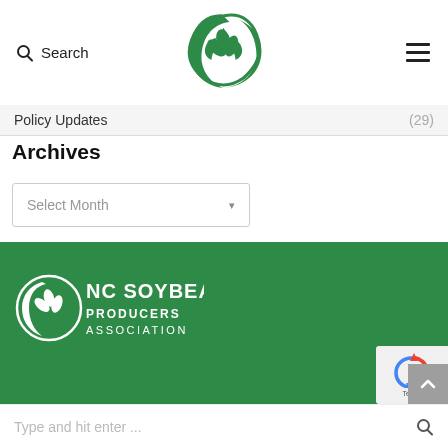Search
[Figure (logo): NC Soybean Producers Association green leaf logo in header]
Policy Updates (29)
Archives
Select Month
[Figure (logo): NC Soybean Producers Association white logo on green background in footer]
Type and hit enter ...